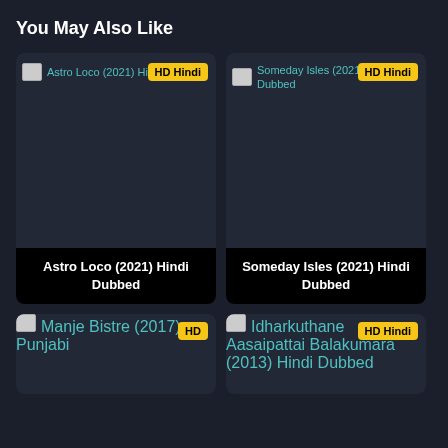You May Also Like
[Figure (screenshot): Movie card thumbnail for Astro Loco (2021) Hindi Dubbed with HD Hindi badge]
[Figure (screenshot): Movie card thumbnail for Someday Isles (2021) Hindi Dubbed with HD Hindi badge]
Astro Loco (2021) Hindi Dubbed
Someday Isles (2021) Hindi Dubbed
[Figure (screenshot): Movie card thumbnail for Manje Bistre (2017) Punjabi with HD badge]
[Figure (screenshot): Movie card thumbnail for Idharkuthane Aasaipattai Balakumara (2013) Hindi Dubbed with HD Hindi badge]